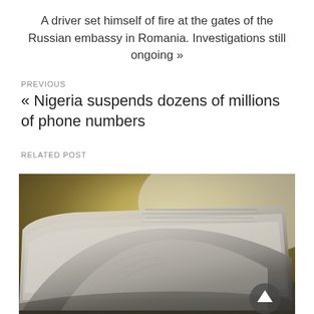A driver set himself of fire at the gates of the Russian embassy in Romania. Investigations still ongoing »
PREVIOUS
« Nigeria suspends dozens of millions of phone numbers
RELATED POST
[Figure (photo): Close-up photo of a folded newspaper, with blurred background showing warm yellow and brown tones]